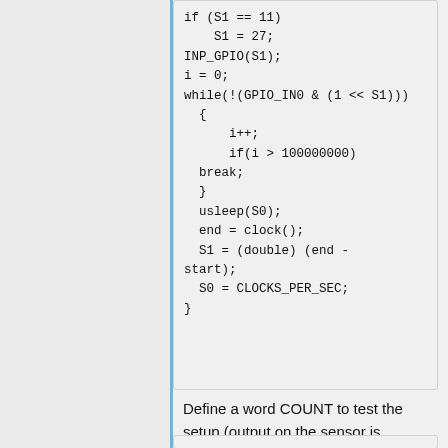[Figure (screenshot): Code snippet showing C code with S1=27, INP_GPIO(S1), i=0, while loop, i++, if break, usleep, clock, double cast, CLOCKS_PER_SEC]
Define a word COUNT to test the setup (output on the sensor is connected to Buf2 on Gertboard and VCC is connected to Buf3):
[Figure (screenshot): Bottom code box partially visible]